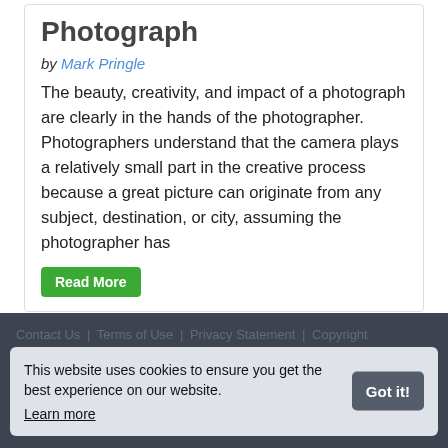Photograph
by Mark Pringle
The beauty, creativity, and impact of a photograph are clearly in the hands of the photographer. Photographers understand that the camera plays a relatively small part in the creative process because a great picture can originate from any subject, destination, or city, assuming the photographer has
Read More
Contact Us | Terms of Use | Privacy Statement | Copyright
.com is an Inc. website
This website uses cookies to ensure you get the best experience on our website. Learn more
Got it!